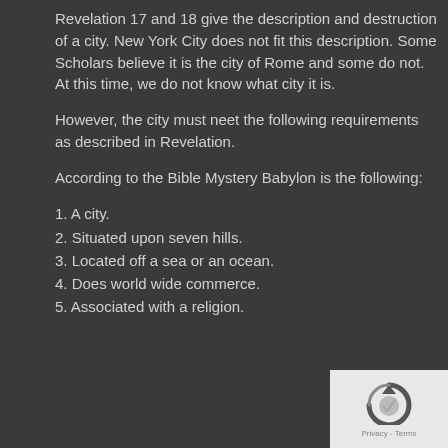Revelation 17 and 18 give the description and destruction of a city. New York City does not fit this description. Some Scholars believe it is the city of Rome and some do not. At this time, we do not know what city it is.
However, the city must neet the following requirements as described in Revelation.
According to the Bible Mystery Babylon is the following:
1. A city.
2. Situated upon seven hills.
3. Located off a sea or an ocean.
4. Does world wide commerce.
5. Associated with a religion.
[Figure (other): reCAPTCHA logo with 'Privacy - Terms' text in bottom-right corner]